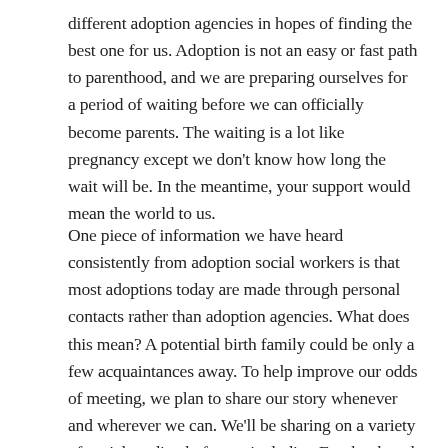different adoption agencies in hopes of finding the best one for us. Adoption is not an easy or fast path to parenthood, and we are preparing ourselves for a period of waiting before we can officially become parents. The waiting is a lot like pregnancy except we don't know how long the wait will be. In the meantime, your support would mean the world to us.
One piece of information we have heard consistently from adoption social workers is that most adoptions today are made through personal contacts rather than adoption agencies. What does this mean? A potential birth family could be only a few acquaintances away. To help improve our odds of meeting, we plan to share our story whenever and wherever we can. We'll be sharing on a variety of social media platforms, including Facebook and Twitter. We hope you will share our story as well. You could be the connection we need.